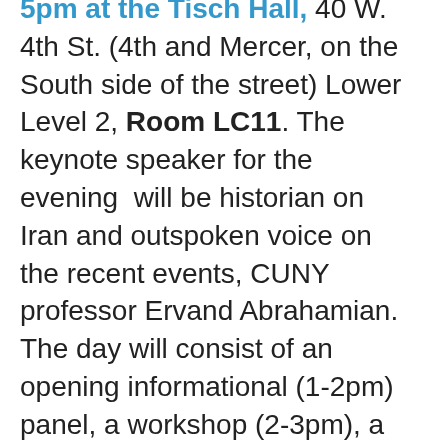5pm at the Tisch Hall, 40 W. 4th St. (4th and Mercer, on the South side of the street) Lower Level 2, Room LC11. The keynote speaker for the evening will be historian on Iran and outspoken voice on the recent events, CUNY professor Ervand Abrahamian. The day will consist of an opening informational (1-2pm) panel, a workshop (2-3pm), a break with refreshments provided (3-3:30pm) and the keynote address with Ervand Abrahamian followed by an audience Q&A (3:30-5pm).